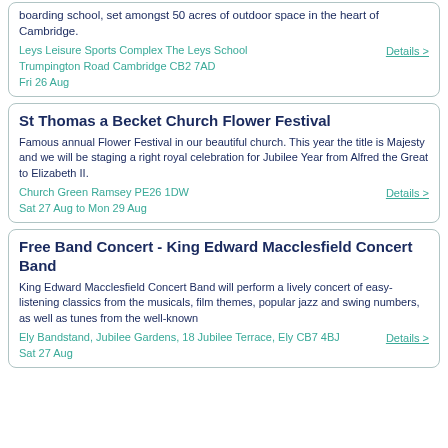boarding school, set amongst 50 acres of outdoor space in the heart of Cambridge.
Leys Leisure Sports Complex The Leys School Trumpington Road Cambridge CB2 7AD
Fri 26 Aug
St Thomas a Becket Church Flower Festival
Famous annual Flower Festival in our beautiful church. This year the title is Majesty and we will be staging a right royal celebration for Jubilee Year from Alfred the Great to Elizabeth II.
Church Green Ramsey PE26 1DW
Sat 27 Aug to Mon 29 Aug
Free Band Concert - King Edward Macclesfield Concert Band
King Edward Macclesfield Concert Band will perform a lively concert of easy-listening classics from the musicals, film themes, popular jazz and swing numbers, as well as tunes from the well-known
Ely Bandstand, Jubilee Gardens, 18 Jubilee Terrace, Ely CB7 4BJ
Sat 27 Aug